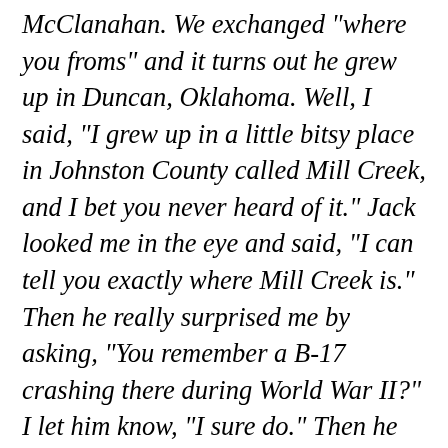McClanahan. We exchanged "where you froms" and it turns out he grew up in Duncan, Oklahoma. Well, I said, "I grew up in a little bitsy place in Johnston County called Mill Creek, and I bet you never heard of it." Jack looked me in the eye and said, "I can tell you exactly where Mill Creek is." Then he really surprised me by asking, "You remember a B-17 crashing there during World War II?" I let him know, "I sure do." Then he said, "And the tail-gunner survived?" "Yep," I replied. "Well," says Jack, "that was me!"